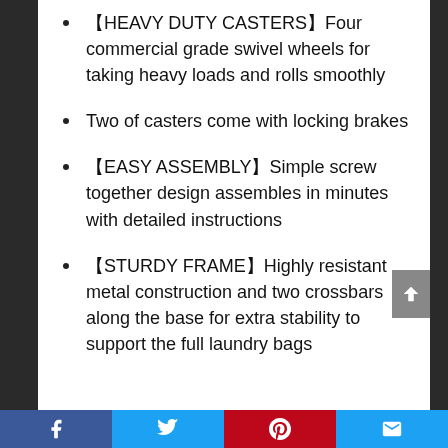【HEAVY DUTY CASTERS】Four commercial grade swivel wheels for taking heavy loads and rolls smoothly
Two of casters come with locking brakes
【EASY ASSEMBLY】Simple screw together design assembles in minutes with detailed instructions
【STURDY FRAME】Highly resistant metal construction and two crossbars along the base for extra stability to support the full laundry bags